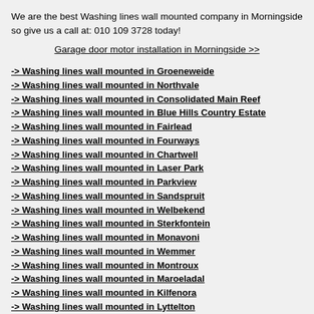We are the best Washing lines wall mounted company in Morningside so give us a call at: 010 109 3728 today!
Garage door motor installation in Morningside >>
-> Washing lines wall mounted in Groeneweide
-> Washing lines wall mounted in Northvale
-> Washing lines wall mounted in Consolidated Main Reef
-> Washing lines wall mounted in Blue Hills Country Estate
-> Washing lines wall mounted in Fairlead
-> Washing lines wall mounted in Fourways
-> Washing lines wall mounted in Chartwell
-> Washing lines wall mounted in Laser Park
-> Washing lines wall mounted in Parkview
-> Washing lines wall mounted in Sandspruit
-> Washing lines wall mounted in Welbekend
-> Washing lines wall mounted in Sterkfontein
-> Washing lines wall mounted in Monavoni
-> Washing lines wall mounted in Wemmer
-> Washing lines wall mounted in Montroux
-> Washing lines wall mounted in Maroeladal
-> Washing lines wall mounted in Kilfenora
-> Washing lines wall mounted in Lyttelton
-> Washing lines wall mounted in Roodekop
-> Washing lines wall mounted in The Falls
-> Washing lines wall mounted in Houghton